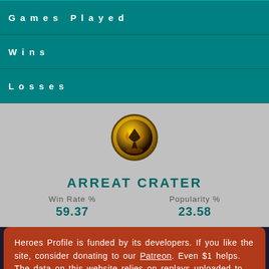| Games Played |
| Wins |
| Losses |
[Figure (illustration): Circular map icon with golden and dark tones showing a figure silhouette on fiery background]
ARREAT CRATER
Win Rate %
59.37
Popularity %
23.58
Heroes Profile is funded by its developers. If you like the site, consider donating to our Patreon. Even $1 helps. The data on this website relies on replays uploaded to Heroes Profile API. Make sure you go there to upload your data. If you do not upload your replays, your data will not be accurate.
This site uses cookies in order to store